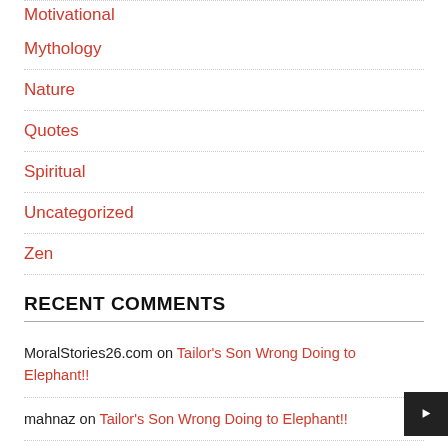Motivational
Mythology
Nature
Quotes
Spiritual
Uncategorized
Zen
RECENT COMMENTS
MoralStories26.com on Tailor’s Son Wrong Doing to Elephant!!
mahnaz on Tailor’s Son Wrong Doing to Elephant!!
Sindhu on Wife’s Smart Solution to Problem – Funny